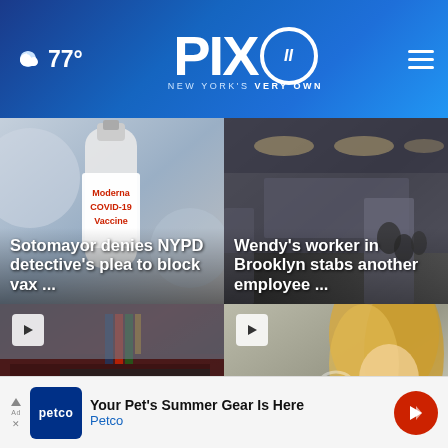77° PIX11 NEW YORK'S VERY OWN
[Figure (photo): Moderna COVID-19 Vaccine bottle close-up]
Sotomayor denies NYPD detective's plea to block vax ...
[Figure (photo): Interior building/subway scene with people]
Wendy's worker in Brooklyn stabs another employee ...
[Figure (photo): Deli storefront with sign reading DELI]
[Figure (photo): Blonde woman, partially visible]
Your Pet's Summer Gear Is Here Petco